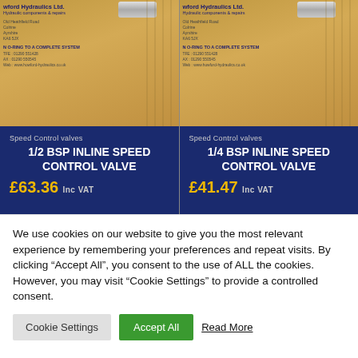[Figure (photo): Two product cards side by side showing hydraulic speed control valve products in brown cardboard boxes with Howford Hydraulics Ltd. branding. Left card: 1/2 BSP Inline Speed Control Valve priced £63.36 inc VAT. Right card: 1/4 BSP Inline Speed Control Valve priced £41.47 inc VAT. Both on dark navy blue background with product info.]
We use cookies on our website to give you the most relevant experience by remembering your preferences and repeat visits. By clicking "Accept All", you consent to the use of ALL the cookies. However, you may visit "Cookie Settings" to provide a controlled consent.